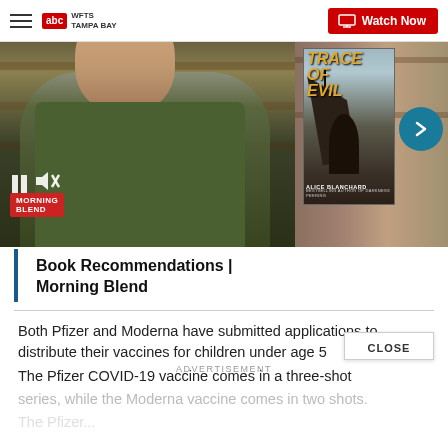WFTS Tampa Bay | Watch Now
[Figure (screenshot): Video thumbnail showing a man in a green polo shirt standing in front of bookshelves, with a book cover for 'Trace of Evil' by Alice Blanchard on the right side. A teal arrow circle navigation button is visible. Morning Blend logo badge shown. Pause and mute icons visible.]
Book Recommendations | Morning Blend
Both Pfizer and Moderna have submitted applications to distribute their vaccines for children under age 5. The Pfizer COVID-19 vaccine comes in a three-dose series, while the Moderna vaccine comes in two-shot series, while the Moderna vaccine comes in two shots.
The Pfizer...